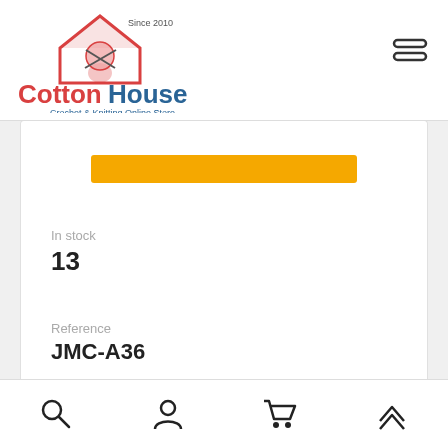[Figure (logo): CottonHouse logo — house icon with yarn, text 'CottonHouse Crochet & Knitting Online Store', 'Since 2010']
In stock
13
Reference
JMC-A36
Brand
CHS
[Figure (screenshot): Bottom navigation bar with search, user, cart, and up-arrow icons]